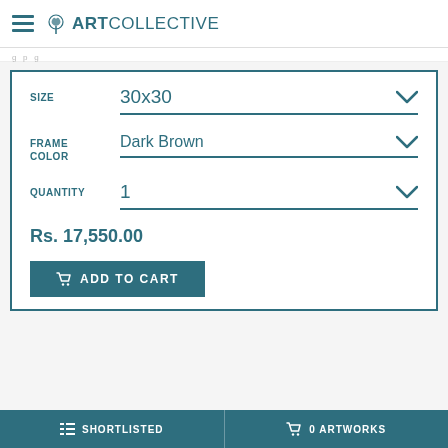ArtCollective
SIZE  30x30
FRAME COLOR  Dark Brown
QUANTITY  1
Rs. 17,550.00
ADD TO CART
SHORTLISTED   0 ARTWORKS